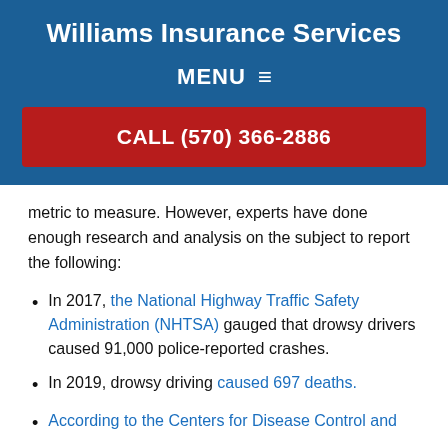Williams Insurance Services
MENU ≡
CALL (570) 366-2886
metric to measure. However, experts have done enough research and analysis on the subject to report the following:
In 2017, the National Highway Traffic Safety Administration (NHTSA) gauged that drowsy drivers caused 91,000 police-reported crashes.
In 2019, drowsy driving caused 697 deaths.
According to the Centers for Disease Control and